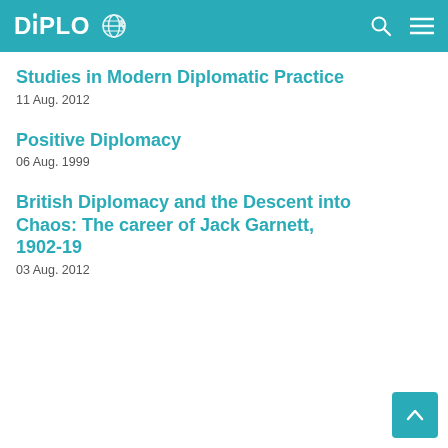DiPLO
Studies in Modern Diplomatic Practice
11 Aug. 2012
Positive Diplomacy
06 Aug. 1999
British Diplomacy and the Descent into Chaos: The career of Jack Garnett, 1902-19
03 Aug. 2012